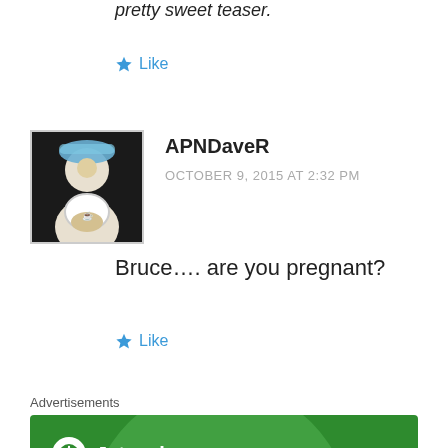pretty sweet teaser.
Like
APNDaveR
OCTOBER 9, 2015 AT 2:32 PM
Bruce…. are you pregnant?
Like
Advertisements
[Figure (screenshot): Jetpack WordPress plugin advertisement banner with green background, circular lighter green shape, Jetpack logo and text 'The best real-time WordPress backup plugin']